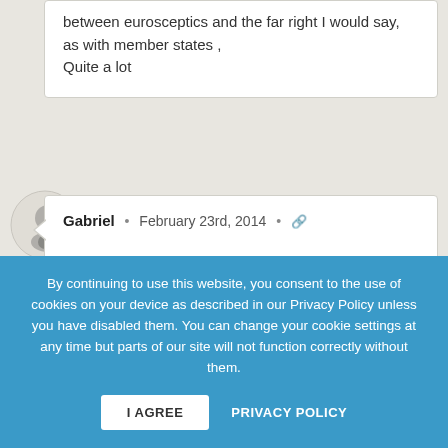between eurosceptics and the far right I would say, as with member states ,
Quite a lot
Gabriel • February 23rd, 2014 •
One might ask just as well “what’s the difference between the EU and the Soviet Union?”.
Well, in my opinion, USSR was a more
By continuing to use this website, you consent to the use of cookies on your device as described in our Privacy Policy unless you have disabled them. You can change your cookie settings at any time but parts of our site will not function correctly without them.
I AGREE
PRIVACY POLICY